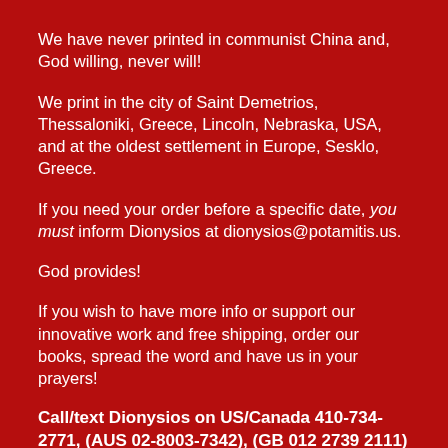We have never printed in communist China and, God willing, never will!
We print in the city of Saint Demetrios, Thessaloniki, Greece, Lincoln, Nebraska, USA, and at the oldest settlement in Europe, Sesklo, Greece.
If you need your order before a specific date, you must inform Dionysios at dionysios@potamitis.us.
God provides!
If you wish to have more info or support our innovative work and free shipping, order our books, spread the word and have us in your prayers!
Call/text Dionysios on US/Canada 410-734-2771, (AUS 02-8003-7342), (GB 012 2739 2111) to hear